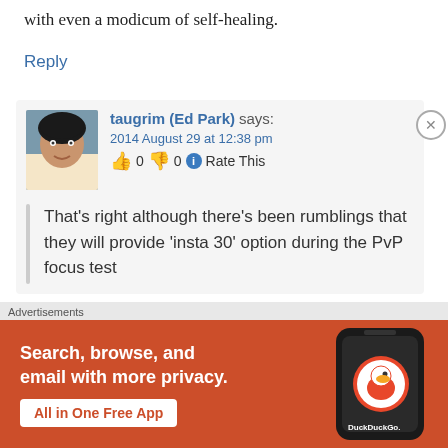with even a modicum of self-healing.
Reply
taugrim (Ed Park) says:
2014 August 29 at 12:38 pm
👍 0 👎 0 ℹ Rate This
That's right although there's been rumblings that they will provide 'insta 30' option during the PvP focus test
Advertisements
[Figure (screenshot): DuckDuckGo advertisement banner: orange background with white text 'Search, browse, and email with more privacy.' and 'All in One Free App' button, plus DuckDuckGo logo on dark phone silhouette]